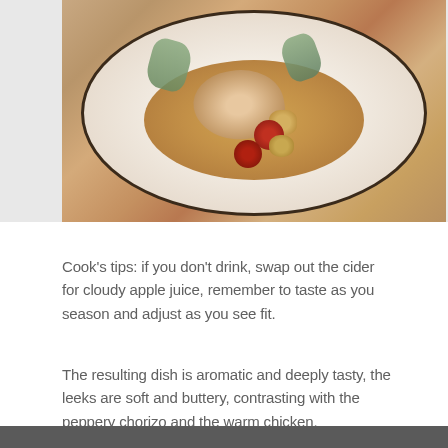[Figure (photo): A white plate with a braised chicken dish featuring chorizo sausages, potato chunks, leeks, and vegetables in a golden-brown broth]
Cook's tips: if you don't drink, swap out the cider for cloudy apple juice, remember to taste as you season and adjust as you see fit.
The resulting dish is aromatic and deeply tasty, the leeks are soft and buttery, contrasting with the peppery chorizo and the warm chicken.